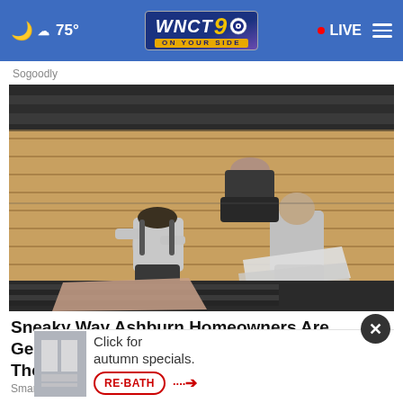WNCT 9 On Your Side — 75° — LIVE
Sogoodly
[Figure (photo): Workers installing shingles on a rooftop, multiple workers visible, sunny day, wood decking visible]
Sneaky Way Ashburn Homeowners Are Getting The...
Smart
[Figure (screenshot): Re-Bath advertisement: Click for autumn specials. RE·BATH logo with arrow. Close (X) button overlay.]